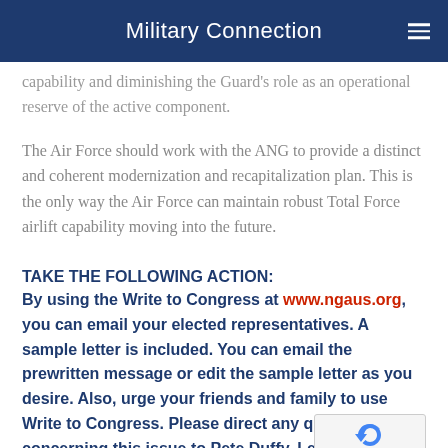Military Connection
capability and diminishing the Guard's role as an operational reserve of the active component.
The Air Force should work with the ANG to provide a distinct and coherent modernization and recapitalization plan. This is the only way the Air Force can maintain robust Total Force airlift capability moving into the future.
TAKE THE FOLLOWING ACTION:
By using the Write to Congress at www.ngaus.org, you can email your elected representatives. A sample letter is included. You can email the prewritten message or edit the sample letter as you desire. Also, urge your friends and family to use Write to Congress. Please direct any questions concerning this issue to Pete Duffy, Legislative Director at pete.duffy@ngaus.org